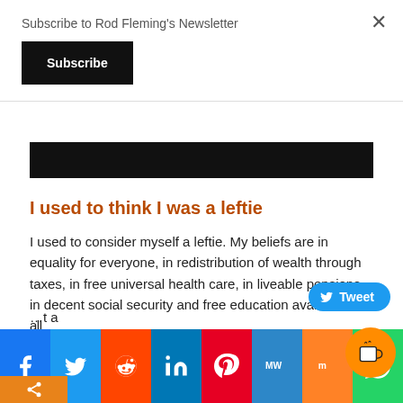Subscribe to Rod Fleming's Newsletter
Subscribe
I used to think I was a leftie
I used to consider myself a leftie. My beliefs are in equality for everyone, in redistribution of wealth through taxes, in free universal health care, in liveable pensions, in decent social security and free education available to all...because he calls himself a 'Muslim'. Or that a man with a
[Figure (screenshot): Social media share bar with icons: Facebook, Twitter, Reddit, LinkedIn, Pinterest, MeWe, Mix, WhatsApp]